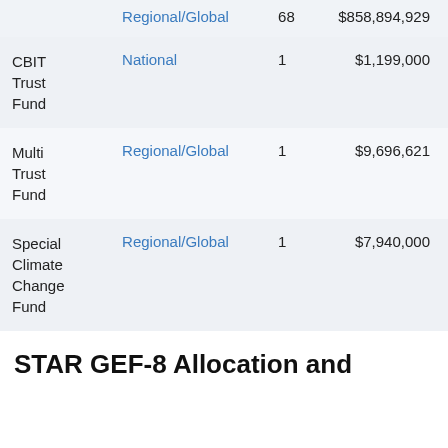| Fund | Scope | Count | Amount |
| --- | --- | --- | --- |
|  | Regional/Global | 68 | $858,894,929 |
| CBIT Trust Fund | National | 1 | $1,199,000 |
| Multi Trust Fund | Regional/Global | 1 | $9,696,621 |
| Special Climate Change Fund | Regional/Global | 1 | $7,940,000 |
STAR GEF-8 Allocation and